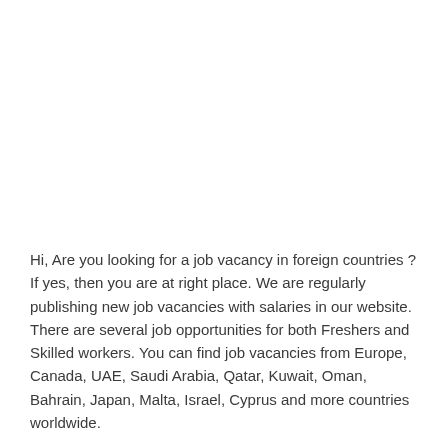Hi, Are you looking for a job vacancy in foreign countries ? If yes, then you are at right place. We are regularly publishing new job vacancies with salaries in our website. There are several job opportunities for both Freshers and Skilled workers. You can find job vacancies from Europe, Canada, UAE, Saudi Arabia, Qatar, Kuwait, Oman, Bahrain, Japan, Malta, Israel, Cyprus and more countries worldwide.
New Job Demand in JAPAN | JAPAN, This is a